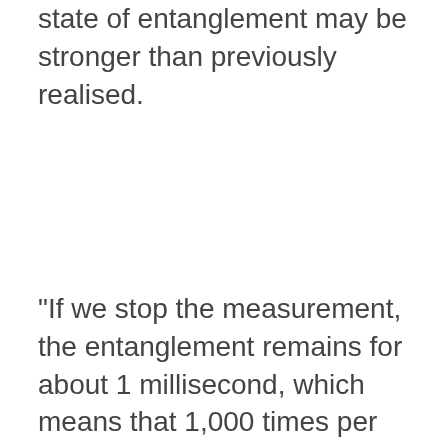state of entanglement may be stronger than previously realised.
"If we stop the measurement, the entanglement remains for about 1 millisecond, which means that 1,000 times per second a new batch of 15 trillion atoms is being entangled," says quantum physicist Jia Kong from the Institute of Photonic